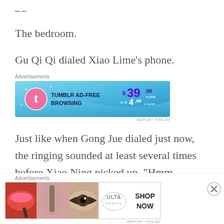≡≡
The bedroom.
Gu Qi Qi dialed Xiao Lime's phone.
[Figure (screenshot): Tumblr ad banner: TUMBLR AD-FREE BROWSING $39.99 a year or $4.99 a month]
Just like when Gong Jue dialed just now, the ringing sounded at least several times before Xiao Ning picked up, "Hmm ...... Hmm? ...... Qi Qi?"
[Figure (screenshot): ULTA beauty advertisement banner with makeup imagery and SHOP NOW text]